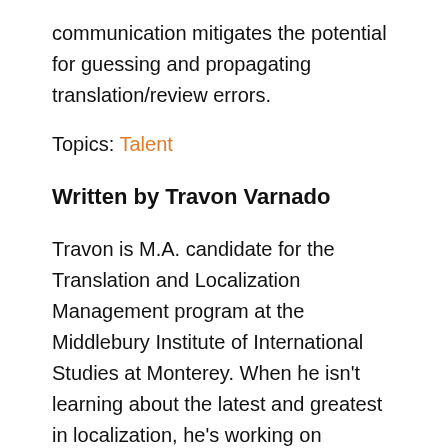communication mitigates the potential for guessing and propagating translation/review errors.
Topics: Talent
Written by Travon Varnado
Travon is M.A. candidate for the Translation and Localization Management program at the Middlebury Institute of International Studies at Monterey. When he isn't learning about the latest and greatest in localization, he's working on